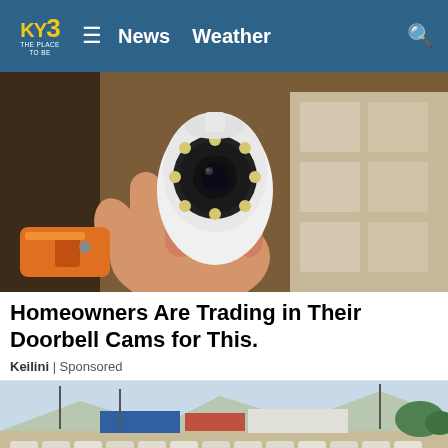KY3 | The Place To Be — News   Weather
[Figure (photo): A hand holding a small white 360-degree security camera with LED ring, with an orange power drill visible below and cardboard boxes in the background]
Homeowners Are Trading in Their Doorbell Cams for This.
Keilini | Sponsored
[Figure (photo): Aerial view of a large car lot filled with hundreds of white cars parked in rows, with desert mountains and industrial buildings in the background]